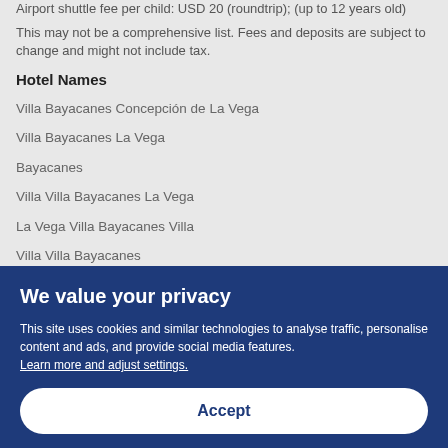Airport shuttle fee per child: USD 20 (roundtrip); (up to 12 years old)
This may not be a comprehensive list. Fees and deposits are subject to change and might not include tax.
Hotel Names
Villa Bayacanes Concepción de La Vega
Villa Bayacanes La Vega
Bayacanes
Villa Villa Bayacanes La Vega
La Vega Villa Bayacanes Villa
Villa Villa Bayacanes
Bayacanes La Vega
We value your privacy
This site uses cookies and similar technologies to analyse traffic, personalise content and ads, and provide social media features. Learn more and adjust settings.